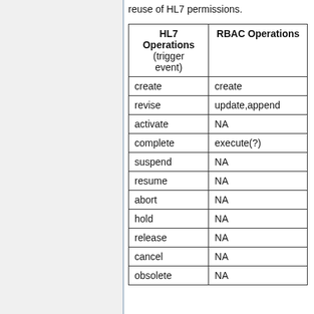reuse of HL7 permissions.
| HL7 Operations (trigger event) | RBAC Operations |
| --- | --- |
| create | create |
| revise | update,append |
| activate | NA |
| complete | execute(?) |
| suspend | NA |
| resume | NA |
| abort | NA |
| hold | NA |
| release | NA |
| cancel | NA |
| obsolete | NA |